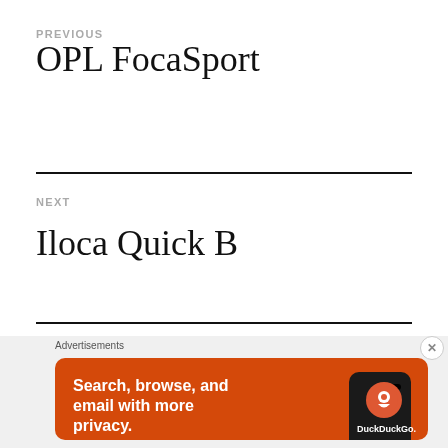PREVIOUS
OPL FocaSport
NEXT
Iloca Quick B
[Figure (infographic): DuckDuckGo advertisement banner with orange background showing text 'Search, browse, and email with more privacy. All in One Free App' with a phone image and DuckDuckGo logo]